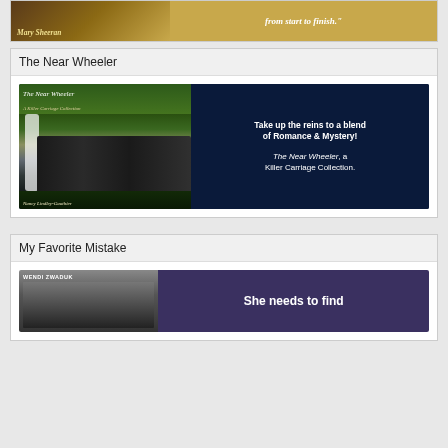[Figure (illustration): Top portion of a book advertisement banner showing author name Mary Sheeran on the left against a dark golden background, and text 'from start to finish.' on the right against a golden/tan background]
The Near Wheeler
[Figure (illustration): Book advertisement for 'The Near Wheeler: A Killer Carriage Collection' by Nancy Lindley-Gauthier. Left side shows the book cover with horseback riders. Right side on dark navy background reads: 'Take up the reins to a blend of Romance & Mystery! The Near Wheeler, a Killer Carriage Collection.']
My Favorite Mistake
[Figure (illustration): Partial view of a book advertisement for Wendi Zwaduk. Cover on left shows a figure, right side on dark purple/navy background begins 'She needs to find']